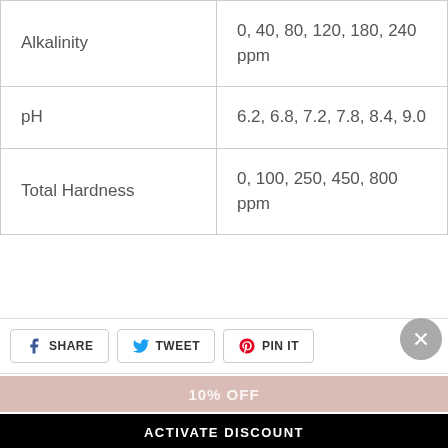| Alkalinity | 0, 40, 80, 120, 180, 240 ppm |
| pH | 6.2, 6.8, 7.2, 7.8, 8.4, 9.0 |
| Total Hardness | 0, 100, 250, 450, 800 ppm |
SHARE
TWEET
PIN IT
10% OFF
ACTIVATE DISCOUNT